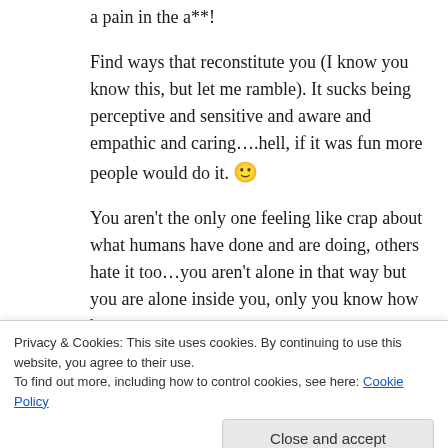a pain in the a**!
Find ways that reconstitute you (I know you know this, but let me ramble). It sucks being perceptive and sensitive and aware and empathic and caring….hell, if it was fun more people would do it. 🙂
You aren't the only one feeling like crap about what humans have done and are doing, others hate it too…you aren't alone in that way but you are alone inside you, only you know how best to
Privacy & Cookies: This site uses cookies. By continuing to use this website, you agree to their use.
To find out more, including how to control cookies, see here: Cookie Policy
needs consideration and care and respect…